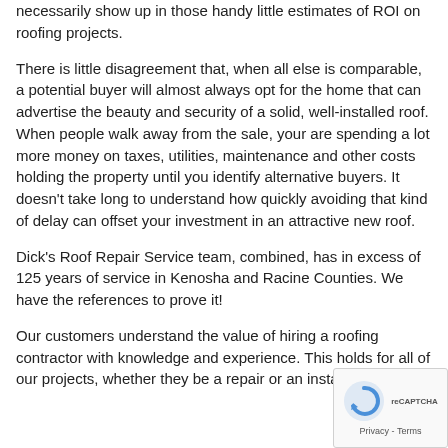necessarily show up in those handy little estimates of ROI on roofing projects.
There is little disagreement that, when all else is comparable, a potential buyer will almost always opt for the home that can advertise the beauty and security of a solid, well-installed roof. When people walk away from the sale, your are spending a lot more money on taxes, utilities, maintenance and other costs holding the property until you identify alternative buyers. It doesn't take long to understand how quickly avoiding that kind of delay can offset your investment in an attractive new roof.
Dick's Roof Repair Service team, combined, has in excess of 125 years of service in Kenosha and Racine Counties. We have the references to prove it!
Our customers understand the value of hiring a roofing contractor with knowledge and experience. This holds for all of our projects, whether they be a repair or an install...
[Figure (other): reCAPTCHA badge with circular arrow logo and Privacy - Terms text]